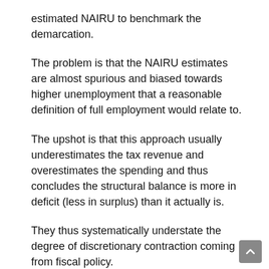estimated NAIRU to benchmark the demarcation.
The problem is that the NAIRU estimates are almost spurious and biased towards higher unemployment that a reasonable definition of full employment would relate to.
The upshot is that this approach usually underestimates the tax revenue and overestimates the spending and thus concludes the structural balance is more in deficit (less in surplus) than it actually is.
They thus systematically understate the degree of discretionary contraction coming from fiscal policy.
The US Congressional Budget Office follows this defective methodology. They provide a detailed account – Measuring the Effects of the Business Cycle on the Federal Budget of how they calculate the impacts of the automatic stabilisers that is, decompose the budget outcome into structural and cyclical components. They also provide annual and quarterly